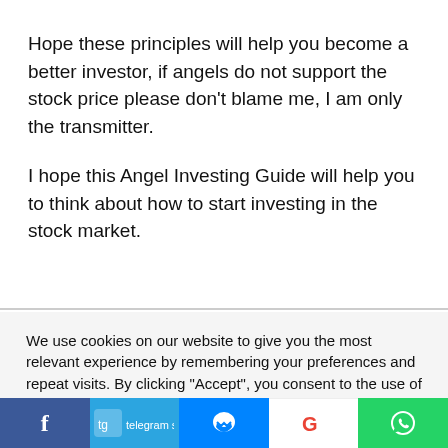Hope these principles will help you become a better investor, if angels do not support the stock price please don't blame me, I am only the transmitter.
I hope this Angel Investing Guide will help you to think about how to start investing in the stock market.
We use cookies on our website to give you the most relevant experience by remembering your preferences and repeat visits. By clicking “Accept”, you consent to the use of ALL the cookies.
Cookie settings  ACCEPT